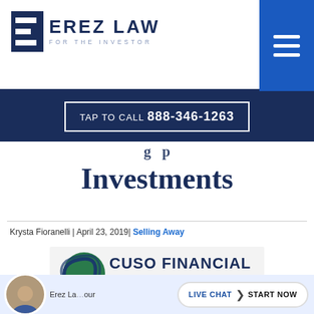[Figure (logo): Erez Law - For the Investor logo with stylized E icon and hamburger menu on blue background]
TAP TO CALL 888-346-1263
Investments
Krysta Fioranelli | April 23, 2019| Selling Away
[Figure (logo): CUSO Financial Services, LP - Member FINRA/SIPC logo]
Erez Law